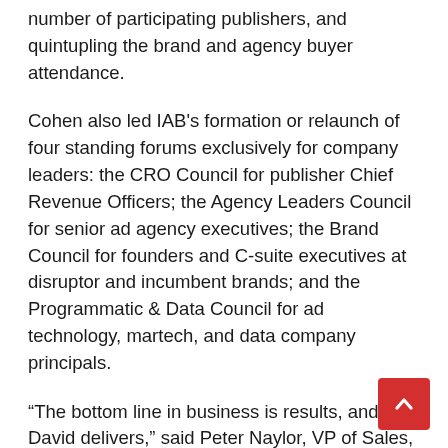number of participating publishers, and quintupling the brand and agency buyer attendance.
Cohen also led IAB's formation or relaunch of four standing forums exclusively for company leaders: the CRO Council for publisher Chief Revenue Officers; the Agency Leaders Council for senior ad agency executives; the Brand Council for founders and C-suite executives at disruptor and incumbent brands; and the Programmatic & Data Council for ad technology, martech, and data company principals.
“The bottom line in business is results, and David delivers,” said Peter Naylor, VP of Sales, Snap Inc., a longtime member of the trade association’s Board of Directors, and the Founding Chair of the IAB Video Center. “His buy-side experience and perspective, most recently as President of Magna, is invaluable. He has built organizations responsible for purchasing billions dollars of digital media inventory annually. In just six